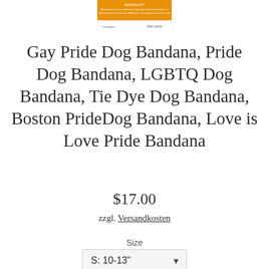[Figure (screenshot): Small product thumbnail/banner image at top center showing an orange bandana size guide graphic]
Gay Pride Dog Bandana, Pride Dog Bandana, LGBTQ Dog Bandana, Tie Dye Dog Bandana, Boston PrideDog Bandana, Love is Love Pride Bandana
$17.00
zzgl. Versandkosten
Size
S: 10-13"